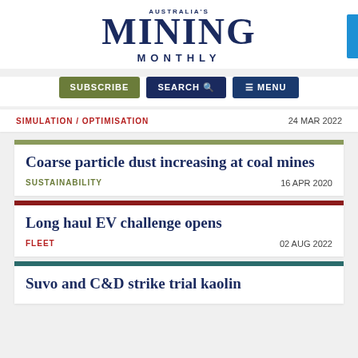[Figure (logo): Australia's Mining Monthly logo with large MINING text and MONTHLY below]
SUBSCRIBE  SEARCH  MENU
SIMULATION / OPTIMISATION    24 MAR 2022
Coarse particle dust increasing at coal mines
SUSTAINABILITY    16 APR 2020
Long haul EV challenge opens
FLEET    02 AUG 2022
Suvo and C&D strike trial kaolin